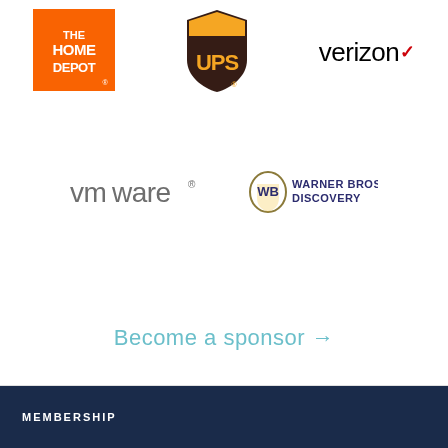[Figure (logo): The Home Depot logo - orange square with white text]
[Figure (logo): UPS logo - brown shield shape with yellow UPS lettering]
[Figure (logo): Verizon logo - black text with red checkmark]
[Figure (logo): VMware logo - gray stylized text with registered trademark]
[Figure (logo): Warner Bros. Discovery logo - WB shield with company name]
Become a sponsor →
MEMBERSHIP